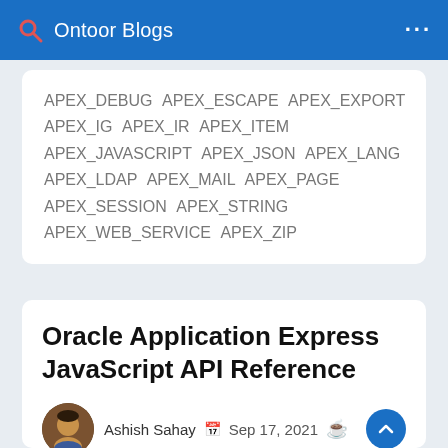Ontoor Blogs
APEX_DEBUG APEX_ESCAPE APEX_EXPORT APEX_IG APEX_IR APEX_ITEM APEX_JAVASCRIPT APEX_JSON APEX_LANG APEX_LDAP APEX_MAIL APEX_PAGE APEX_SESSION APEX_STRING APEX_WEB_SERVICE APEX_ZIP
Oracle Application Express JavaScript API Reference
Ashish Sahay  Sep 17, 2021
1 min read  Ashish Sahay  APEX